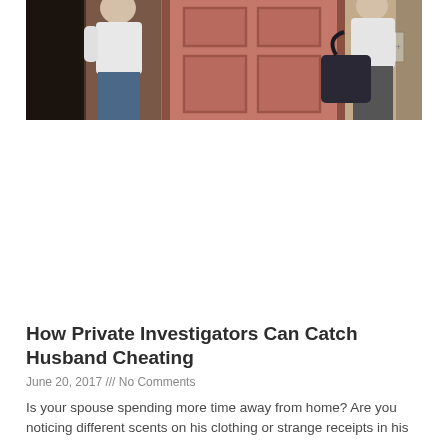[Figure (photo): Two people near a red/brown door — one person (female, white t-shirt, jeans) on the left facing the door, one person (male, white t-shirt, carrying a dark bag) on the right side of the door. Tan/beige wall visible on the far right with a light switch plate.]
How Private Investigators Can Catch Husband Cheating
June 20, 2017 /// No Comments
Is your spouse spending more time away from home? Are you noticing different scents on his clothing or strange receipts in his